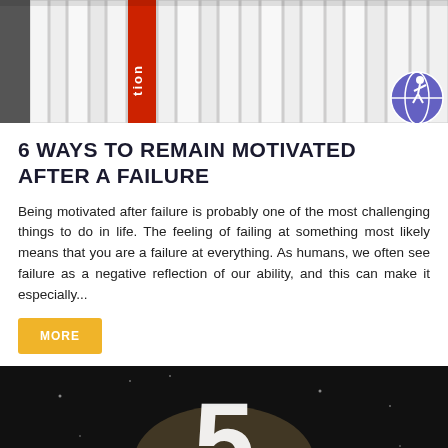[Figure (photo): Row of white books on a shelf with one red book spine showing the text 'tion', and a small globe icon overlaid in the bottom-right corner of the image.]
6 WAYS TO REMAIN MOTIVATED AFTER A FAILURE
Being motivated after failure is probably one of the most challenging things to do in life. The feeling of failing at something most likely means that you are a failure at everything. As humans, we often see failure as a negative reflection of our ability, and this can make it especially...
MORE
[Figure (photo): Dark background image with a large white numeral '5' visible, partially obscured, on a dark circular shape.]